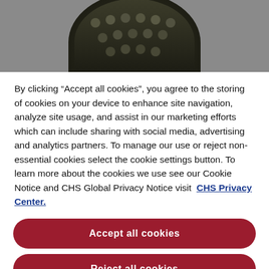[Figure (photo): Group photo of students/team members arranged in rows, shown in a circular/oval crop against a grey background banner at the top of the page.]
By clicking “Accept all cookies”, you agree to the storing of cookies on your device to enhance site navigation, analyze site usage, and assist in our marketing efforts which can include sharing with social media, advertising and analytics partners. To manage our use or reject non-essential cookies select the cookie settings button. To learn more about the cookies we use see our Cookie Notice and CHS Global Privacy Notice visit  CHS Privacy Center.
Accept all cookies
Reject all cookies
Do not sell my personal information and cookie settings